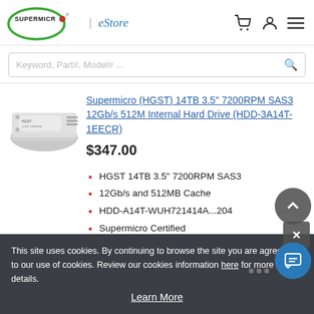[Figure (logo): Supermicro logo with green oval and red dot, followed by eStore text]
Keyword, Part#, Model# ...
Supermicro (HGST) 14TB 3.5" 7200RPM SAS3 12Gb/s 512M Internal Hard Drive (HDD-3A14T-1EECR)
$347.00
HGST 14TB 3.5" 7200RPM SAS3
12Gb/s and 512MB Cache
HDD-A14T-WUH721414A...204
Supermicro Certified
This site uses cookies. By continuing to browse the site you are agreeing to our use of cookies. Review our cookies information here for more details.
Learn More